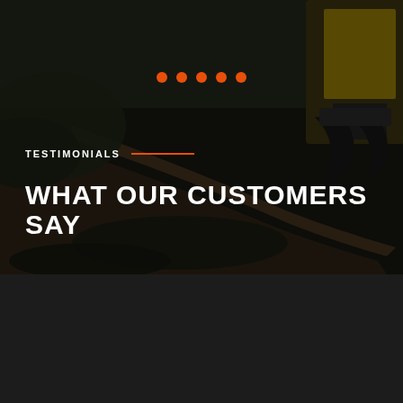[Figure (photo): Dark background photo of a yellow excavator/machinery grabbing a fallen tree trunk amid debris and foliage, with a dark overlay]
TESTIMONIALS
WHAT OUR CUSTOMERS SAY
PRICING
Check Out Our Price List